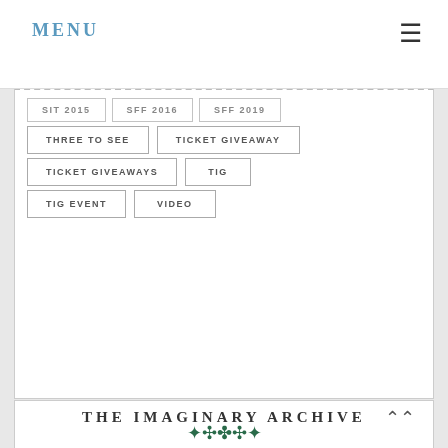MENU
THREE TO SEE
TICKET GIVEAWAY
TICKET GIVEAWAYS
TIG
TIG EVENT
VIDEO
THE IMAGINARY ARCHIVE